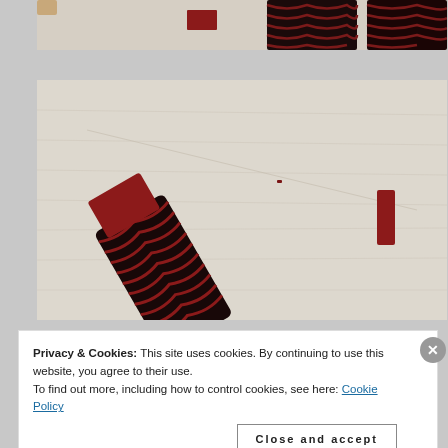[Figure (photo): Partial view of dark red/maroon twisted rope or braid and small rectangular felted pieces on a white linen or burlap fabric background.]
[Figure (photo): Close-up photo of dark maroon/red twisted rope braid with a burgundy rectangular felted tab attached at top, lying on white linen fabric. Another small rectangular felted tab is visible to the right.]
Privacy & Cookies: This site uses cookies. By continuing to use this website, you agree to their use.
To find out more, including how to control cookies, see here: Cookie Policy
Close and accept